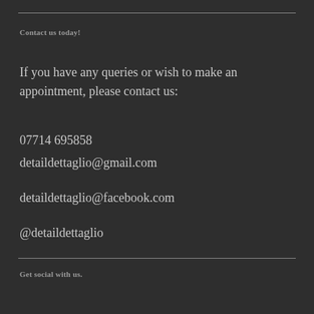Contact us today!
If you have any queries or wish to make an appointment, please contact us:
07714 695858
detaildettaglio@gmail.com
detaildettaglio@facebook.com
@detaildettaglio
Get social with us.